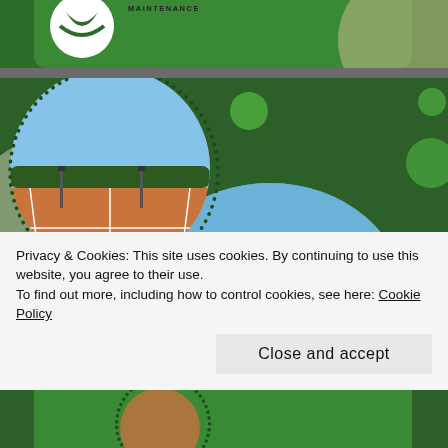[Figure (photo): Website screenshot showing a sports court maintenance company page with two circular photos of red tennis courts, decorative green background with green circles, a logo circle top left with 'MAINTENANCE' text, and a cookie consent popup overlay at the bottom.]
Privacy & Cookies: This site uses cookies. By continuing to use this website, you agree to their use.
To find out more, including how to control cookies, see here: Cookie Policy
Close and accept